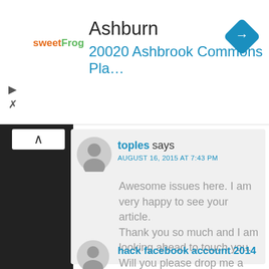[Figure (screenshot): Ad banner for sweetFrog showing Ashburn location at 20020 Ashbrook Commons Pla... with a navigation/direction diamond icon]
toples says
AUGUST 16, 2015 AT 7:43 PM
Awesome issues here. I am very happy to see your article.
Thank you so much and I am looking ahead to touch you. Will you please drop me a mail?
hack facebook account 2014